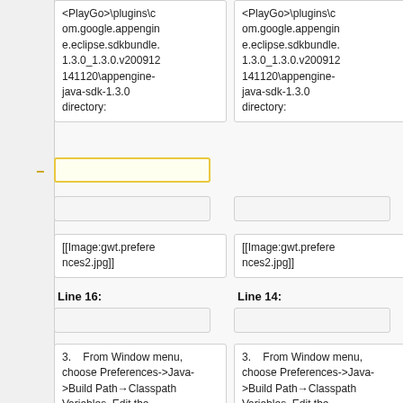<PlayGo>\plugins\com.google.appengine.eclipse.sdkbundle.1.3.0_1.3.0.v200912141120\appengine-java-sdk-1.3.0 directory:
<PlayGo>\plugins\com.google.appengine.eclipse.sdkbundle.1.3.0_1.3.0.v200912141120\appengine-java-sdk-1.3.0 directory:
[[Image:gwt.preferences2.jpg]]
[[Image:gwt.preferences2.jpg]]
Line 16:
Line 14:
3.    From Window menu, choose Preferences->Java->Build Path→Classpath Variables. Edit the PLAOGO_PLAOGO
3.    From Window menu, choose Preferences->Java->Build Path→Classpath Variables. Edit the PLAOGO_PLAOGO